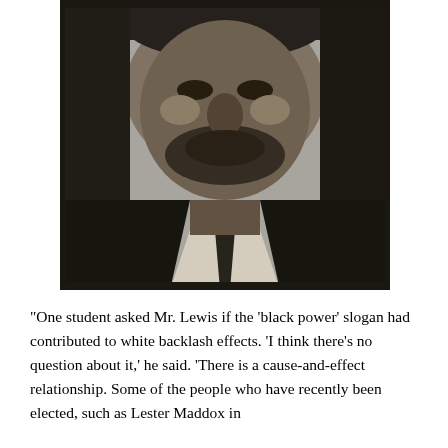[Figure (photo): Black and white halftone photograph of a man, appears to be a close-up portrait showing his face, wearing a suit and tie.]
"One student asked Mr. Lewis if the 'black power' slogan had contributed to white backlash effects. 'I think there's no question about it,' he said. 'There is a cause-and-effect relationship. Some of the people who have recently been elected, such as Lester Maddox in